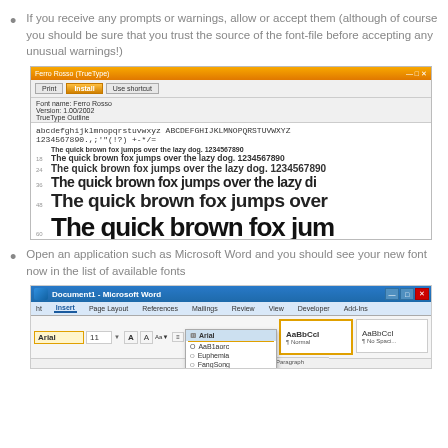If you receive any prompts or warnings, allow or accept them (although of course you should be sure that you trust the source of the font-file before accepting any unusual warnings!)
[Figure (screenshot): Windows font preview dialog showing 'Ferro Rosso' TrueType font with sample text at various sizes including 'The quick brown fox jumps over the lazy dog' repeated at increasing sizes]
Open an application such as Microsoft Word and you should see your new font now in the list of available fonts
[Figure (screenshot): Microsoft Word window showing the font dropdown list with fonts including Arial (selected), AaB1aorc, Euphemia, and FangSong visible]